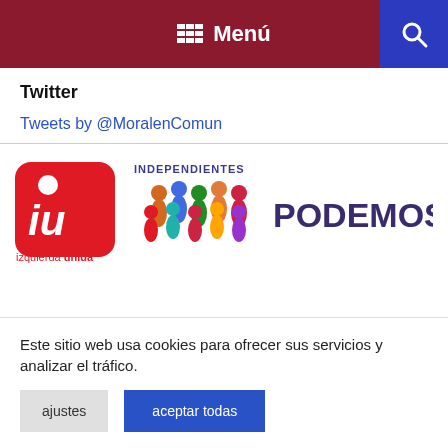Menú
Twitter
Tweets by @MoralenComun
[Figure (logo): Izquierda Unida logo, Independientes logo with colorful figures, and PODEMOS. text logo]
Este sitio web usa cookies para ofrecer sus servicios y analizar el tráfico.
ajustes
aceptar todas